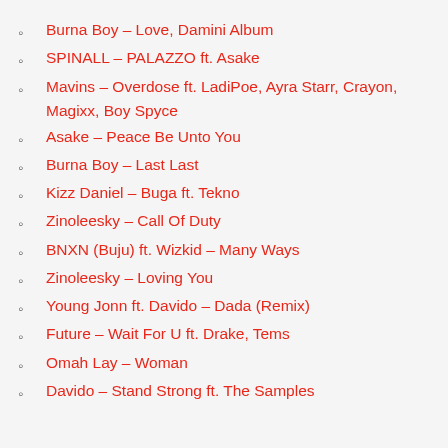Burna Boy – Love, Damini Album
SPINALL – PALAZZO ft. Asake
Mavins – Overdose ft. LadiPoe, Ayra Starr, Crayon, Magixx, Boy Spyce
Asake – Peace Be Unto You
Burna Boy – Last Last
Kizz Daniel – Buga ft. Tekno
Zinoleesky – Call Of Duty
BNXN (Buju) ft. Wizkid – Many Ways
Zinoleesky – Loving You
Young Jonn ft. Davido – Dada (Remix)
Future – Wait For U ft. Drake, Tems
Omah Lay – Woman
Davido – Stand Strong ft. The Samples